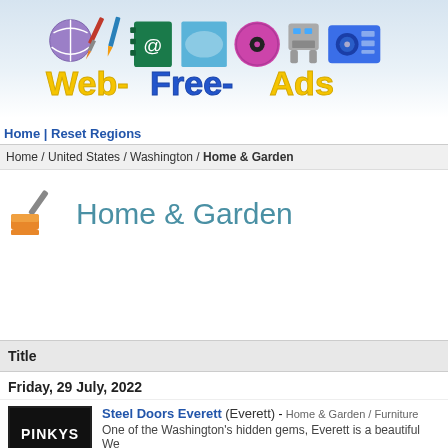[Figure (logo): Web-Free-Ads logo with colorful icons including sports ball, art supplies, address book, camera, vinyl record, robot toy, and radio/boombox above large yellow and blue stylized text reading Web-Free-Ads]
Home | Reset Regions
Home / United States / Washington / Home & Garden
Home & Garden
Title
Friday, 29 July, 2022
Steel Doors Everett (Everett) - Home & Garden / Furniture
One of the Washington's hidden gems, Everett is a beautiful We